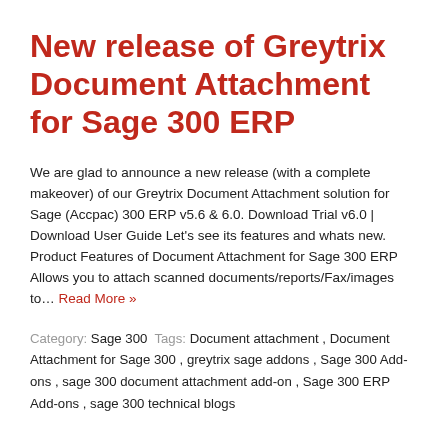New release of Greytrix Document Attachment for Sage 300 ERP
We are glad to announce a new release (with a complete makeover) of our Greytrix Document Attachment solution for Sage (Accpac) 300 ERP v5.6 & 6.0. Download Trial v6.0 | Download User Guide Let's see its features and whats new. Product Features of Document Attachment for Sage 300 ERP Allows you to attach scanned documents/reports/Fax/images to… Read More »
Category: Sage 300  Tags: Document attachment , Document Attachment for Sage 300 , greytrix sage addons , Sage 300 Add-ons , sage 300 document attachment add-on , Sage 300 ERP Add-ons , sage 300 technical blogs